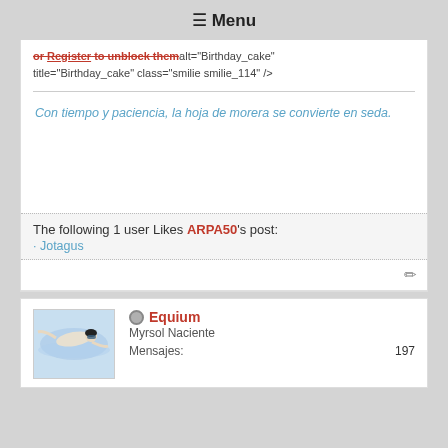☰ Menu
or Register to unblock them alt="Birthday_cake" title="Birthday_cake" class="smilie smilie_114" />
Con tiempo y paciencia, la hoja de morera se convierte en seda.
The following 1 user Likes ARPA50's post:
· Jotagus
Equium
Myrsol Naciente
Mensajes: 197